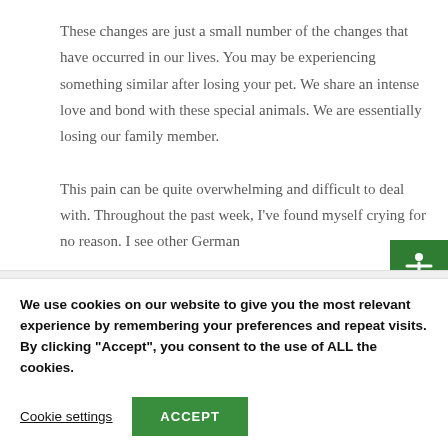These changes are just a small number of the changes that have occurred in our lives. You may be experiencing something similar after losing your pet. We share an intense love and bond with these special animals. We are essentially losing our family member.

This pain can be quite overwhelming and difficult to deal with. Throughout the past week, I've found myself crying for no reason. I see other German
We use cookies on our website to give you the most relevant experience by remembering your preferences and repeat visits. By clicking "Accept", you consent to the use of ALL the cookies.
Cookie settings
ACCEPT